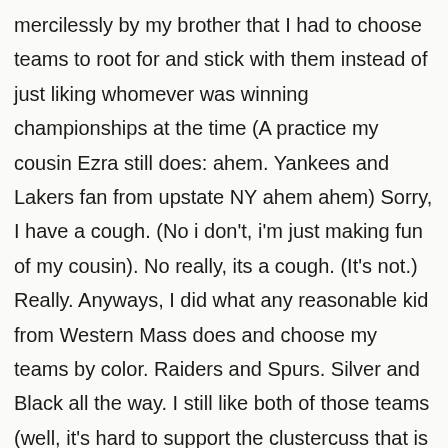mercilessly by my brother that I had to choose teams to root for and stick with them instead of just liking whomever was winning championships at the time (A practice my cousin Ezra still does: ahem. Yankees and Lakers fan from upstate NY ahem ahem) Sorry, I have a cough. (No i don't, i'm just making fun of my cousin). No really, its a cough. (It's not.) Really. Anyways, I did what any reasonable kid from Western Mass does and choose my teams by color. Raiders and Spurs. Silver and Black all the way. I still like both of those teams (well, it's hard to support the clustercuss that is the Raiders--but i do my best). As I explored the world outside the 413 area code, I realized that most normal humans choose sports teams geographically, and since then I have re-adopted my home MA teams. Those who know me, know that I am a huge baseball fan